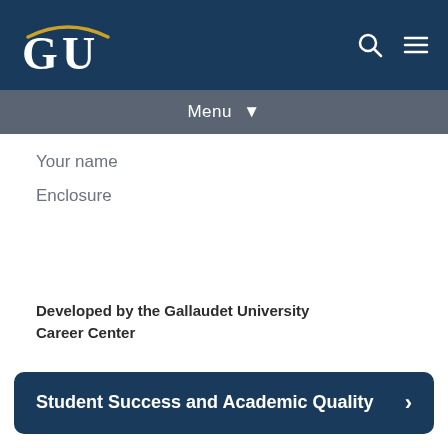GU | Gallaudet University
Menu
Your name
Enclosure
Developed by the Gallaudet University Career Center
Student Success and Academic Quality